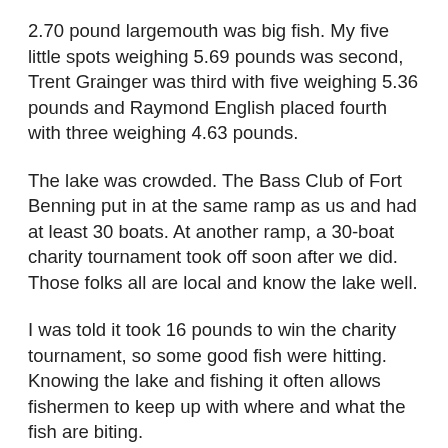2.70 pound largemouth was big fish. My five little spots weighing 5.69 pounds was second, Trent Grainger was third with five weighing 5.36 pounds and Raymond English placed fourth with three weighing 4.63 pounds.
The lake was crowded. The Bass Club of Fort Benning put in at the same ramp as us and had at least 30 boats. At another ramp, a 30-boat charity tournament took off soon after we did. Those folks all are local and know the lake well.
I was told it took 16 pounds to win the charity tournament, so some good fish were hitting. Knowing the lake and fishing it often allows fishermen to keep up with where and what the fish are biting.
The good news is the cooler nights and shorter days will make bass start their fall feeding spree soon. It will happen in ponds first since they cool faster, but even on big lakes, fishermen like me will have a better chance of